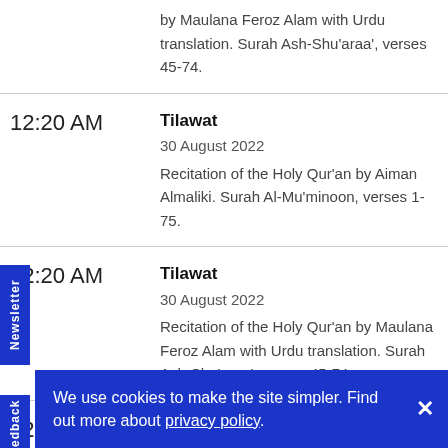by Maulana Feroz Alam with Urdu translation. Surah Ash-Shu'araa', verses 45-74.
12:20 AM — Tilawat
30 August 2022
Recitation of the Holy Qur'an by Aiman Almaliki. Surah Al-Mu'minoon, verses 1-75.
12:20 AM — Tilawat
30 August 2022
Recitation of the Holy Qur'an by Maulana Feroz Alam with Urdu translation. Surah Ash-Shu'araa', verses 45-74.
12:30 AM
Newsletter
Feedback
We use cookies to make the site simpler. Find out more about privacy policy.